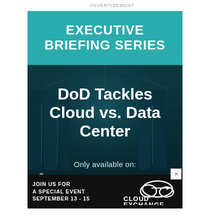ADVERTISEMENT
EXECUTIVE BRIEFING SERIES
DoD Tackles Cloud vs. Data Center
Only available on:
[Figure (logo): Federal News Network logo with stylized FNN shield icon and text FEDERAL NEWS NETWORK]
JOIN US FOR A SPECIAL EVENT SEPTEMBER 13 - 15
[Figure (logo): Cloud Exchange logo with cloud icon graphic]